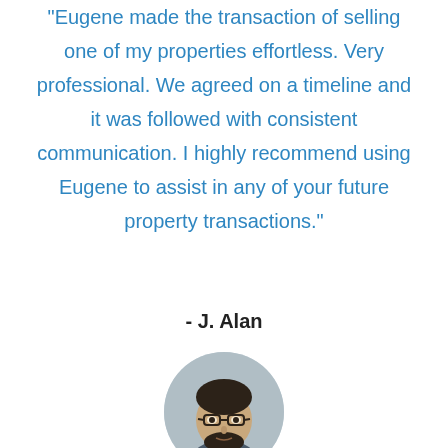"Eugene made the transaction of selling one of my properties effortless. Very professional. We agreed on a timeline and it was followed with consistent communication. I highly recommend using Eugene to assist in any of your future property transactions."
- J. Alan
[Figure (photo): Circular profile photo of a man with dark hair, glasses, and a beard, wearing a dark jacket, with a light grey background.]